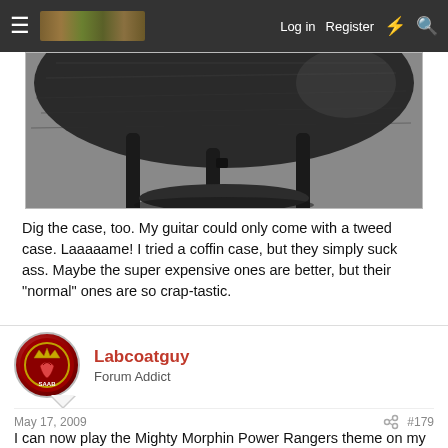≡  [logo]   Log in   Register   ⚡   🔍
[Figure (photo): Close-up photo of a dark circular guitar body or case bottom resting on metal stand legs, viewed from below on a concrete surface]
Dig the case, too. My guitar could only come with a tweed case. Laaaaame! I tried a coffin case, but they simply suck ass. Maybe the super expensive ones are better, but their "normal" ones are so crap-tastic.
Labcoatguy
Forum Addict
May 17, 2009   #179
I can now play the Mighty Morphin Power Rangers theme on my guitar. Sometimes, it can take a really cheesy song to drag me into playing.